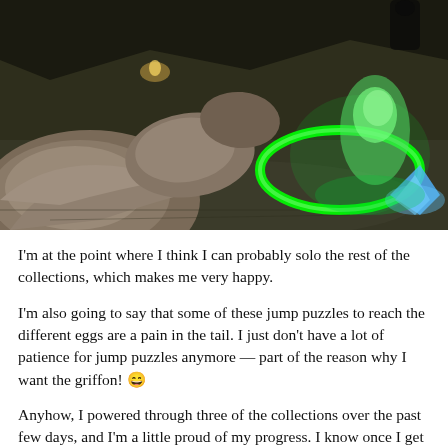[Figure (screenshot): A video game screenshot showing a cave or dungeon environment with large stone rocks on the left, a glowing green circular arc and a translucent green ghost-like figure on the right, with blue crystal effects at the bottom right. The floor appears to be stone/marble.]
I'm at the point where I think I can probably solo the rest of the collections, which makes me very happy.
I'm also going to say that some of these jump puzzles to reach the different eggs are a pain in the tail. I just don't have a lot of patience for jump puzzles anymore — part of the reason why I want the griffon! 😁
Anyhow, I powered through three of the collections over the past few days, and I'm a little proud of my progress. I know once I get my griffon and this is all behind me, I'll certainly feel accomplished in the end. I'm hoping the end will be in sight this